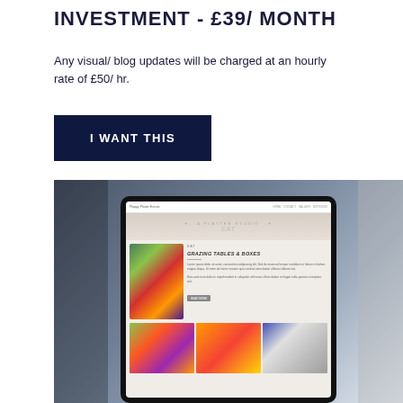INVESTMENT - £39/ month
Any visual/ blog updates will be charged at an hourly rate of £50/ hr.
I WANT THIS
[Figure (screenshot): A tablet device displaying a website for 'Grazing Tables & Boxes' service, showing a navigation bar at the top, a hero/banner section, a main content area with a food photography image on the left and text including 'Grazing Tables & Boxes' heading on the right, followed by a gallery row with three food images at the bottom. The tablet is set against a dark grey background with shadows.]